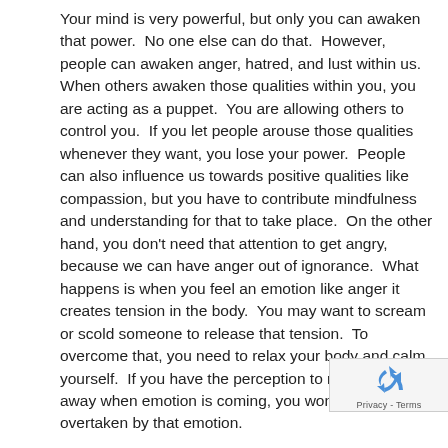Your mind is very powerful, but only you can awaken that power.  No one else can do that.  However, people can awaken anger, hatred, and lust within us.  When others awaken those qualities within you, you are acting as a puppet.  You are allowing others to control you.  If you let people arouse those qualities whenever they want, you lose your power.  People can also influence us towards positive qualities like compassion, but you have to contribute mindfulness and understanding for that to take place.  On the other hand, you don't need that attention to get angry, because we can have anger out of ignorance.  What happens is when you feel an emotion like anger it creates tension in the body.  You may want to scream or scold someone to release that tension.  To overcome that, you need to relax your body and calm yourself.  If you have the perception to realize right away when emotion is coming, you won't be overtaken by that emotion.
Think about developing mind power.  By developing your mind power, you can avoid being a puppet.  May we all develop mind power in the present.
With meditation, we are always talking about being open, we often complain that our mind is running here and there, we cannot focus on one thing.  We have trained ourselves to do
[Figure (other): reCAPTCHA widget overlay in bottom-right corner showing recycling arrows logo and Privacy - Terms text]